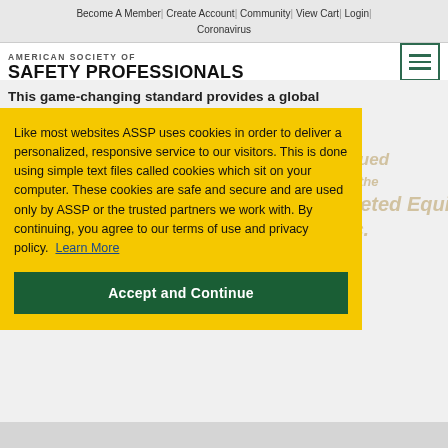Become A Member | Create Account | Community | View Cart | Login | Coronavirus
AMERICAN SOCIETY OF SAFETY PROFESSIONALS
This game-changing standard provides a global foundation for worker safety.
Like most websites ASSP uses cookies in order to deliver a personalized, responsive service to our visitors. This is done using simple text files called cookies which sit on your computer. These cookies are safe and secure and are used only by ASSP or the trusted partners we work with. By continuing, you agree to our terms of use and privacy policy.  Learn More
Accept and Continue